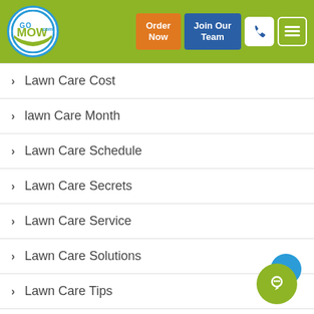[Figure (screenshot): GoMow.com website header with logo, Order Now button (orange), Join Our Team button (blue), phone icon button, and hamburger menu button on green background]
Lawn Care Cost
lawn Care Month
Lawn Care Schedule
Lawn Care Secrets
Lawn Care Service
Lawn Care Solutions
Lawn Care Tips
Lawn Cutting